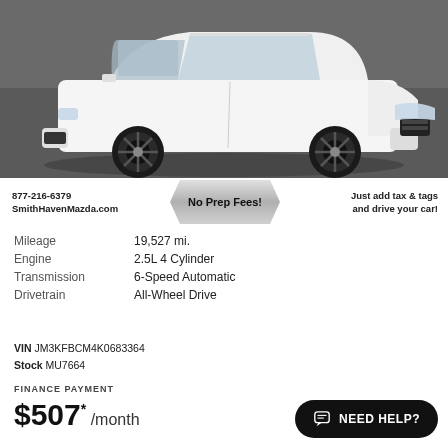[Figure (photo): White Mazda CX-5 SUV parked in a dealership showroom with dark gray floor, front three-quarter view]
877-216-6379
SmithHavenMazda.com
No Prep Fees!
Just add tax & tags and drive your car!
Mileage	19,527 mi.
Engine	2.5L 4 Cylinder
Transmission	6-Speed Automatic
Drivetrain	All-Wheel Drive
VIN JM3KFBCM4K0683364
Stock MU7664
FINANCE PAYMENT
$507* /month
NEED HELP?